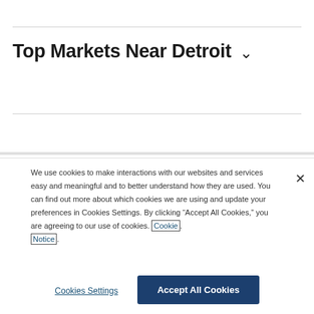Top Markets Near Detroit
We use cookies to make interactions with our websites and services easy and meaningful and to better understand how they are used. You can find out more about which cookies we are using and update your preferences in Cookies Settings. By clicking “Accept All Cookies,” you are agreeing to our use of cookies. Cookie Notice.
Cookies Settings
Accept All Cookies